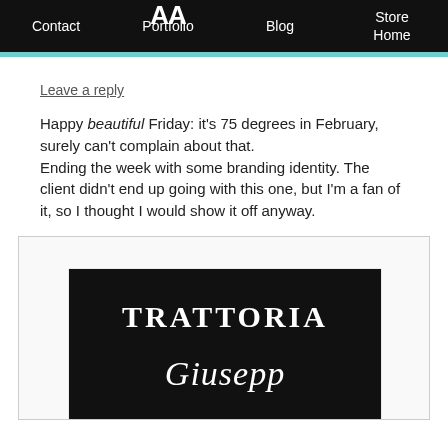Contact  Portfolio  Blog  Store Home
Leave a reply
Happy beautiful Friday: it's 75 degrees in February, surely can't complain about that.
Ending the week with some branding identity. The client didn't end up going with this one, but I'm a fan of it, so I thought I would show it off anyway.
[Figure (illustration): Black and white branding logo for Trattoria Giuanna (partially visible). Black rectangular sign with 'TRATTORIA' in large serif capitals and cursive text below beginning with 'Giu...']